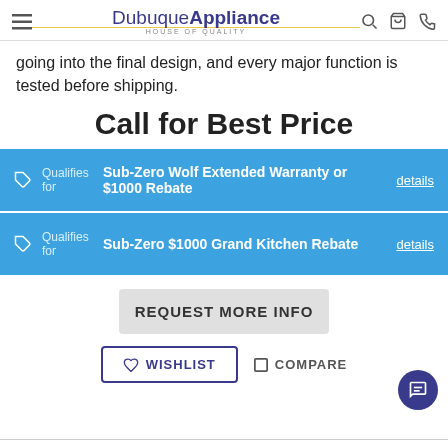Dubuque Appliance - House of Quality
going into the final design, and every major function is tested before shipping.
Call for Best Price
Qualifies for Sub-Zero Wolf Extended Warranty or $1000 Rebate details
Qualifies for Sub-Zero $1000 Grand Kitchen Rebate details
REQUEST MORE INFO
WISHLIST
COMPARE